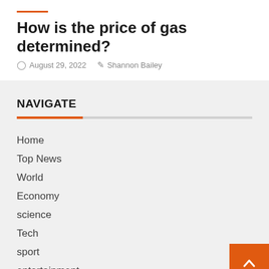How is the price of gas determined?
August 29, 2022   Shannon Bailey
NAVIGATE
Home
Top News
World
Economy
science
Tech
sport
entertainment
Contact Form